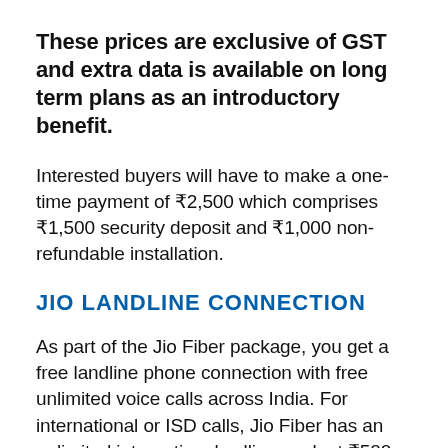These prices are exclusive of GST and extra data is available on long term plans as an introductory benefit.
Interested buyers will have to make a one-time payment of ₹2,500 which comprises ₹1,500 security deposit and ₹1,000 non-refundable installation.
JIO LANDLINE CONNECTION
As part of the Jio Fiber package, you get a free landline phone connection with free unlimited voice calls across India. For international or ISD calls, Jio Fiber has an unlimited international calling pack at ₹500 per month, to US and Canada.